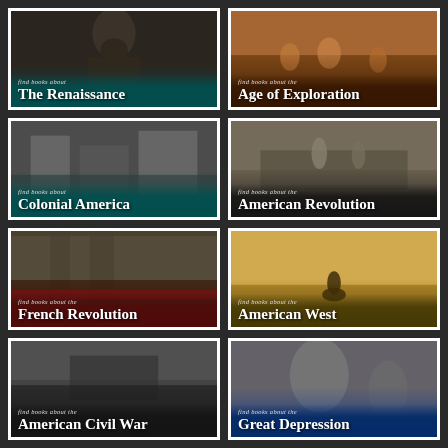[Figure (illustration): Card: find books about The Renaissance - historical portrait image with teal overlay]
[Figure (illustration): Card: find books about the Age of Exploration - historical painting with dark overlay]
[Figure (illustration): Card: find books about Colonial America - black and white historical scene with teal overlay]
[Figure (illustration): Card: find books about the American Revolution - Washington crossing the Delaware with dark overlay]
[Figure (illustration): Card: find books about the French Revolution - historical crowd scene with dark red overlay]
[Figure (illustration): Card: find books about the American West - silhouette on horseback in golden field]
[Figure (illustration): Card: find books about the American Civil War - black and white soldiers with dark overlay]
[Figure (illustration): Card: find books about the Great Depression - iconic migrant mother photo with blue overlay]